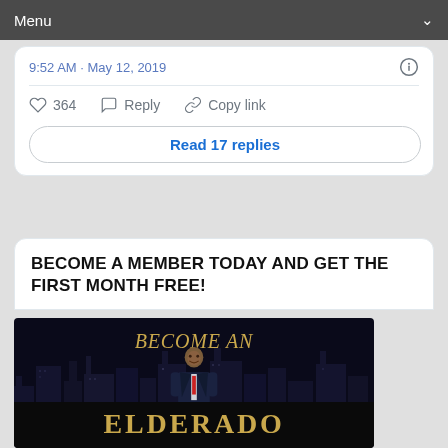Menu
9:52 AM · May 12, 2019
364  Reply  Copy link
Read 17 replies
BECOME A MEMBER TODAY AND GET THE FIRST MONTH FREE!
[Figure (photo): Advertisement banner showing a man in a suit against a city skyline background at night. Gold italic text reads 'BECOME AN' at the top and 'ELDERADO' in large gold letters on a black band at the bottom.]